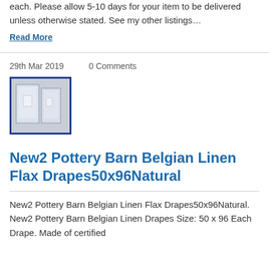each. Please allow 5-10 days for your item to be delivered unless otherwise stated. See my other listings…
Read More
29th Mar 2019    0 Comments
[Figure (photo): Two items in plastic packaging photographed together, showing white/grey wrapped packages with a blue border around the image thumbnail.]
New2 Pottery Barn Belgian Linen Flax Drapes50x96Natural
New2 Pottery Barn Belgian Linen Flax Drapes50x96Natural. New2 Pottery Barn Belgian Linen Drapes Size: 50 x 96 Each Drape. Made of certified